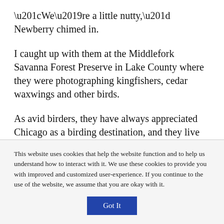“We’re a little nutty,” Newberry chimed in.
I caught up with them at the Middlefork Savanna Forest Preserve in Lake County where they were photographing kingfishers, cedar waxwings and other birds.
As avid birders, they have always appreciated Chicago as a birding destination, and they live close to the world renowned Montrose Point Bird Sanctuary on the lakefront. But sticking around all summer has allowed
This website uses cookies that help the website function and to help us understand how to interact with it. We use these cookies to provide you with improved and customized user-experience. If you continue to the use of the website, we assume that you are okay with it.
Got It